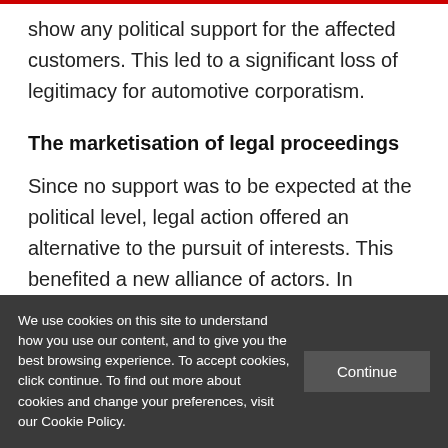show any political support for the affected customers. This led to a significant loss of legitimacy for automotive corporatism.
The marketisation of legal proceedings
Since no support was to be expected at the political level, legal action offered an alternative to the pursuit of interests. This benefited a new alliance of actors. In Germany and Europe, so-called legal tech
We use cookies on this site to understand how you use our content, and to give you the best browsing experience. To accept cookies, click continue. To find out more about cookies and change your preferences, visit our Cookie Policy.